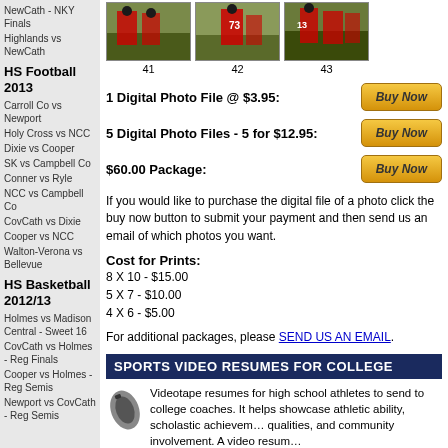NewCath - NKY Finals
Highlands vs NewCath
HS Football 2013
Carroll Co vs Newport
Holy Cross vs NCC
Dixie vs Cooper
SK vs Campbell Co
Conner vs Ryle
NCC vs Campbell Co
CovCath vs Dixie
Cooper vs NCC
Walton-Verona vs Bellevue
HS Basketball 2012/13
Holmes vs Madison Central - Sweet 16
CovCath vs Holmes - Reg Finals
Cooper vs Holmes - Reg Semis
Newport vs CovCath - Reg Semis
[Figure (photo): Football game photo #41]
[Figure (photo): Football game photo #42]
[Figure (photo): Football game photo #43]
1 Digital Photo File @ $3.95:
5 Digital Photo Files - 5 for $12.95:
$60.00 Package:
If you would like to purchase the digital file of a photo click the buy now button to submit your payment and then send us an email of which photos you want.
Cost for Prints:
8 X 10 - $15.00
5 X 7 - $10.00
4 X 6 - $5.00
For additional packages, please SEND US AN EMAIL.
SPORTS VIDEO RESUMES FOR COLLEGE
Videotape resumes for high school athletes to send to college coaches. It helps showcase athletic ability, scholastic achievements, personal qualities, and community involvement. A video resume...